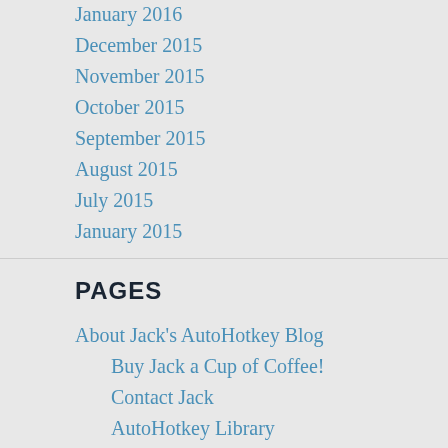January 2016
December 2015
November 2015
October 2015
September 2015
August 2015
July 2015
January 2015
PAGES
About Jack's AutoHotkey Blog
Buy Jack a Cup of Coffee!
Contact Jack
AutoHotkey Library Membership Upgrade Discount and/or Download Increase Request Form
AutoHotkey Books
What Readers of Jack's AutoHotkey Books Say!
AutoHotkey Topics and Series
A Beginner's Guide to Web Page Automation Using